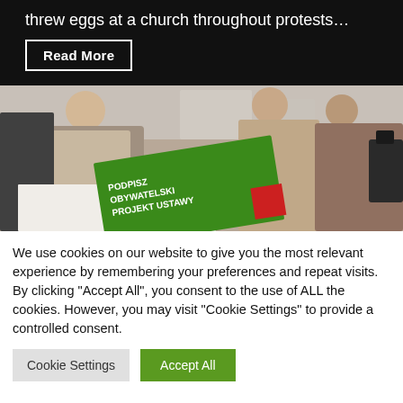threw eggs at a church throughout protests…
Read More
[Figure (photo): People gathered around a table signing a petition. A prominent green sign in the foreground reads 'PODPISZ OBYWATELSKI PROJEKT USTAWY' with a red accent. Several women in coats are visible in the background.]
We use cookies on our website to give you the most relevant experience by remembering your preferences and repeat visits. By clicking "Accept All", you consent to the use of ALL the cookies. However, you may visit "Cookie Settings" to provide a controlled consent.
Cookie Settings
Accept All